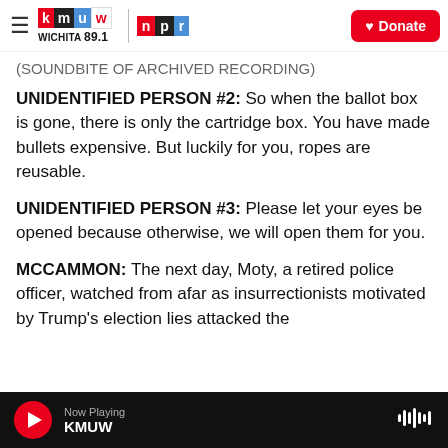KMUW Wichita 89.1 | NPR | Donate
(SOUNDBITE OF ARCHIVED RECORDING)
UNIDENTIFIED PERSON #2: So when the ballot box is gone, there is only the cartridge box. You have made bullets expensive. But luckily for you, ropes are reusable.
UNIDENTIFIED PERSON #3: Please let your eyes be opened because otherwise, we will open them for you.
MCCAMMON: The next day, Moty, a retired police officer, watched from afar as insurrectionists motivated by Trump's election lies attacked the
Now Playing KMUW